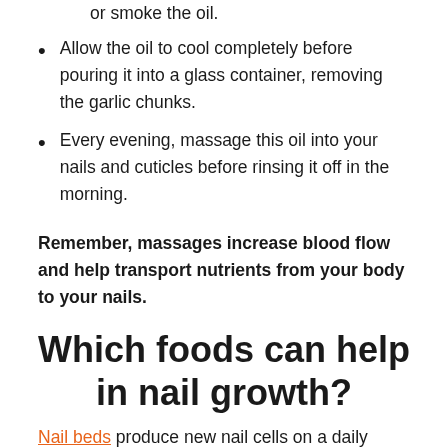olive oil for 10 minutes, taking care not to bubble or smoke the oil.
Allow the oil to cool completely before pouring it into a glass container, removing the garlic chunks.
Every evening, massage this oil into your nails and cuticles before rinsing it off in the morning.
Remember, massages increase blood flow and help transport nutrients from your body to your nails.
Which foods can help in nail growth?
Nail beds produce new nail cells on a daily basis, and